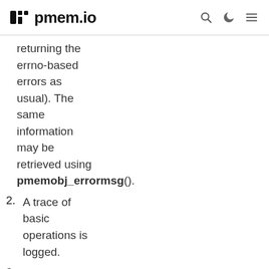pmem.io
returning the errno-based errors as usual). The same information may be retrieved using pmemobj_errormsg().
2. A trace of basic operations is logged.
3. This level enables a very verbose